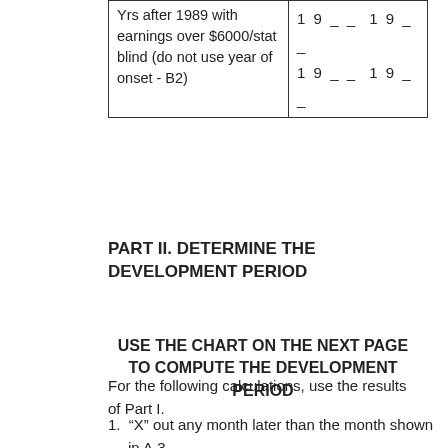| Label | Value1 | Value2 |
| --- | --- | --- |
| Yrs after 1989 with earnings over $6000/stat blind (do not use year of onset - B2) | 19_ _  19_ _ | 19_ _  19_ _ |
PART II. DETERMINE THE DEVELOPMENT PERIOD
USE THE CHART ON THE NEXT PAGE TO COMPUTE THE DEVELOPMENT PERIOD
For the following calculations, use the results of Part I.
1. “X” out any month later than the month shown in A.3.